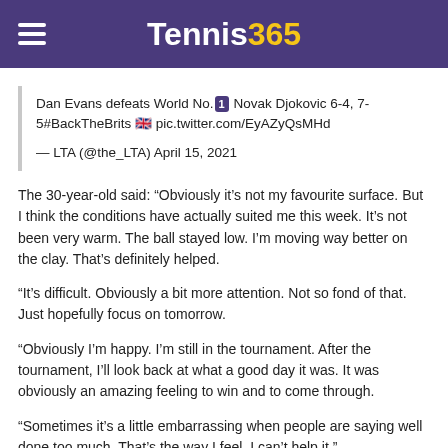Tennis365
Dan Evans defeats World No.1 Novak Djokovic 6-4, 7-5#BackTheBrits 🇬🇧 pic.twitter.com/EyAZyQsMHd

— LTA (@the_LTA) April 15, 2021
The 30-year-old said: “Obviously it’s not my favourite surface. But I think the conditions have actually suited me this week. It’s not been very warm. The ball stayed low. I’m moving way better on the clay. That’s definitely helped.
“It’s difficult. Obviously a bit more attention. Not so fond of that. Just hopefully focus on tomorrow.
“Obviously I’m happy. I’m still in the tournament. After the tournament, I’ll look back at what a good day it was. It was obviously an amazing feeling to win and to come through.
“Sometimes it’s a little embarrassing when people are saying well done too much. That’s the way I feel. I can’t help it.”